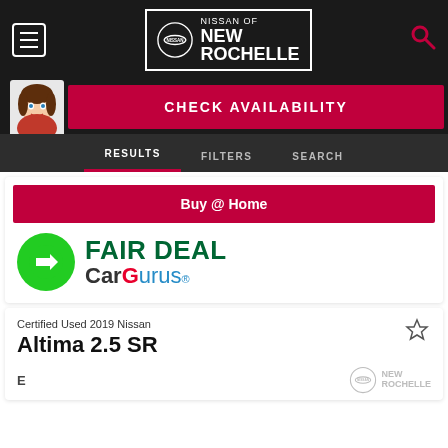Nissan of New Rochelle – dealer website header
[Figure (screenshot): Check Availability banner with cartoon avatar and red button]
RESULTS | FILTERS | SEARCH navigation tabs
Buy @ Home
[Figure (logo): CarGurus FAIR DEAL badge: green circle with arrow and CarGurus logo]
Certified Used 2019 Nissan
Altima 2.5 SR